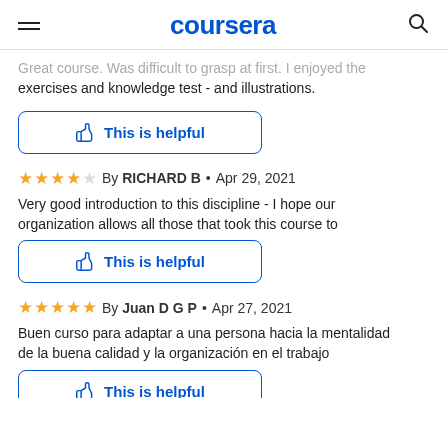coursera
Great course. Was difficult to grasp at first. I enjoyed the exercises and knowledge test - and illustrations.
[Figure (other): This is helpful button with thumbs up icon]
By RICHARD B • Apr 29, 2021
Very good introduction to this discipline - I hope our organization allows all those that took this course to
[Figure (other): This is helpful button with thumbs up icon]
By Juan D G P • Apr 27, 2021
Buen curso para adaptar a una persona hacia la mentalidad de la buena calidad y la organización en el trabajo
[Figure (other): This is helpful button with thumbs up icon (partially visible)]